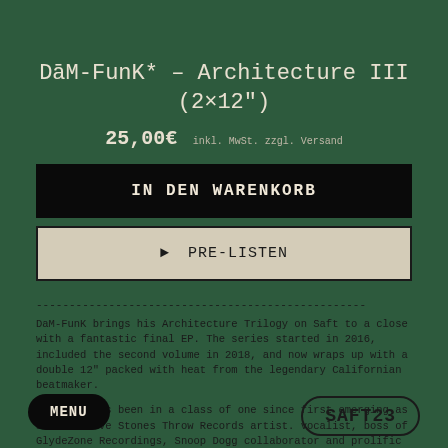DāM-FunK* – Architecture III (2×12")
25,00€  inkl. MwSt. zzgl. Versand
IN DEN WARENKORB
► PRE-LISTEN
--------------------------------------------------
DaM-FunK brings his Architecture Trilogy on Saft to a close with a fantastic final EP. The series started in 2016, included the second volume in 2018, and now wraps up with a double 12" packed with heat from the legendary Californian beatmaker.
DaM-FunK has been in a class of one since first emerging as a definitive Stones Throw Records artist. vocalist, boss of GlydeZone Recordings, Snoop Dogg collaborator and prolific producer of tens of EPs, 14 albums and mixtapes, up to the DJ...
MENU
SAFT23